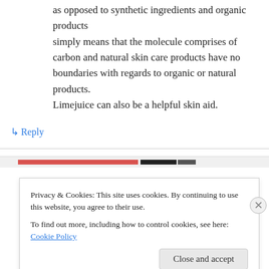as opposed to synthetic ingredients and organic products simply means that the molecule comprises of carbon and natural skin care products have no boundaries with regards to organic or natural products. Limejuice can also be a helpful skin aid.
↳ Reply
cibtalwwoexa on June 12, 2013 at 9:20 pm
Privacy & Cookies: This site uses cookies. By continuing to use this website, you agree to their use.
To find out more, including how to control cookies, see here: Cookie Policy
Close and accept